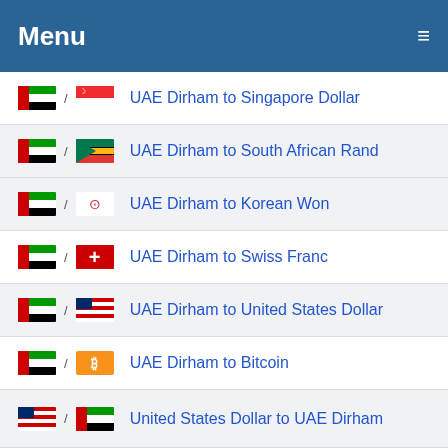Menu
UAE Dirham to Singapore Dollar
UAE Dirham to South African Rand
UAE Dirham to Korean Won
UAE Dirham to Swiss Franc
UAE Dirham to United States Dollar
UAE Dirham to Bitcoin
United States Dollar to UAE Dirham
Euro to UAE Dirham
British Pound to UAE Dirham